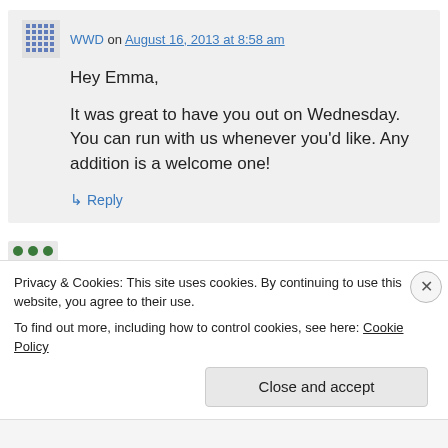WWD on August 16, 2013 at 8:58 am
Hey Emma,

It was great to have you out on Wednesday. You can run with us whenever you'd like. Any addition is a welcome one!
↳ Reply
Niels on October 16, 2013 at 11:24 pm
Privacy & Cookies: This site uses cookies. By continuing to use this website, you agree to their use.
To find out more, including how to control cookies, see here: Cookie Policy
Close and accept